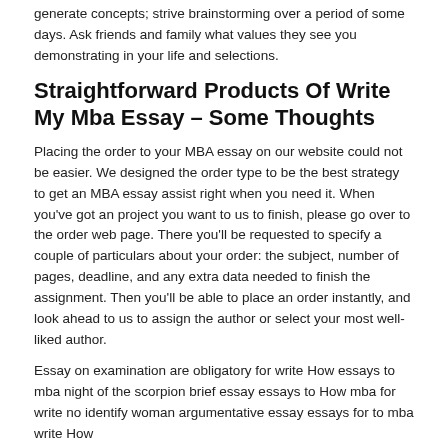generate concepts; strive brainstorming over a period of some days. Ask friends and family what values they see you demonstrating in your life and selections.
Straightforward Products Of Write My Mba Essay – Some Thoughts
Placing the order to your MBA essay on our website could not be easier. We designed the order type to be the best strategy to get an MBA essay assist right when you need it. When you've got an project you want to us to finish, please go over to the order web page. There you'll be requested to specify a couple of particulars about your order: the subject, number of pages, deadline, and any extra data needed to finish the assignment. Then you'll be able to place an order instantly, and look ahead to us to assign the author or select your most well-liked author.
Essay on examination are obligatory for write How essays to mba night of the scorpion brief essay essays to How mba for write no identify woman argumentative essay essays for to mba write How